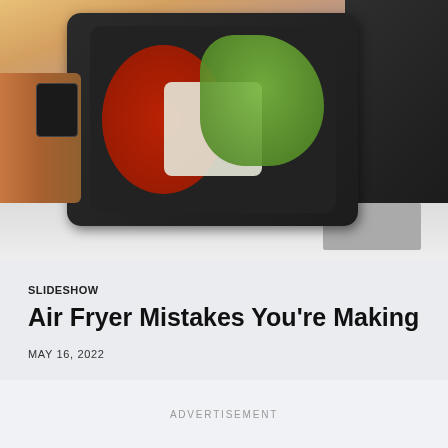[Figure (photo): Person holding an air fryer basket filled with cherry tomatoes, green bell peppers, and white onion pieces, with the black air fryer appliance visible in the background on a white surface with a gray mat]
SLIDESHOW
Air Fryer Mistakes You're Making
MAY 16, 2022
ADVERTISEMENT